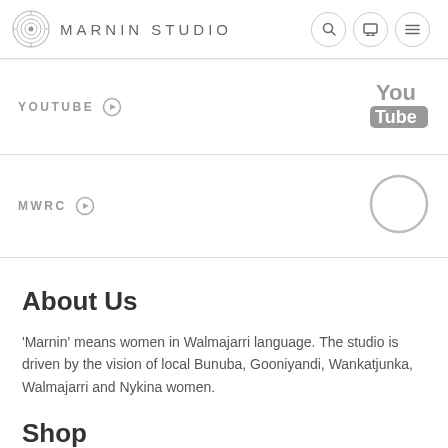MARNIN STUDIO
YOUTUBE ⊙
[Figure (logo): YouTube logo icon in gray]
MWRC ⊙
[Figure (logo): MWRC empty circle placeholder icon in gray]
About Us
'Marnin' means women in Walmajarri language. The studio is driven by the vision of local Bunuba, Gooniyandi, Wankatjunka, Walmajarri and Nykina women.
Shop